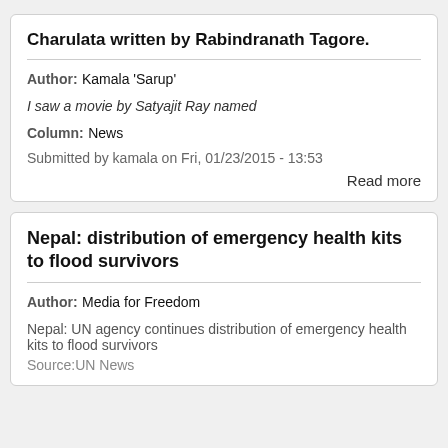Charulata written by Rabindranath Tagore.
Author: Kamala 'Sarup'
I saw a movie by Satyajit Ray named
Column: News
Submitted by kamala on Fri, 01/23/2015 - 13:53
Read more
Nepal: distribution of emergency health kits to flood survivors
Author: Media for Freedom
Nepal: UN agency continues distribution of emergency health kits to flood survivors
Source:UN News